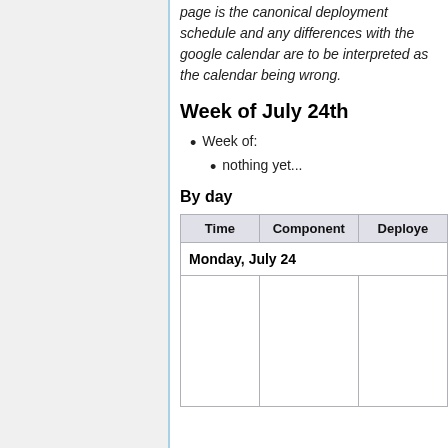page is the canonical deployment schedule and any differences with the google calendar are to be interpreted as the calendar being wrong.
Week of July 24th
Week of:
nothing yet...
By day
| Time | Component | Deploye… |
| --- | --- | --- |
| Monday, July 24 |  |  |
|  |  |  |